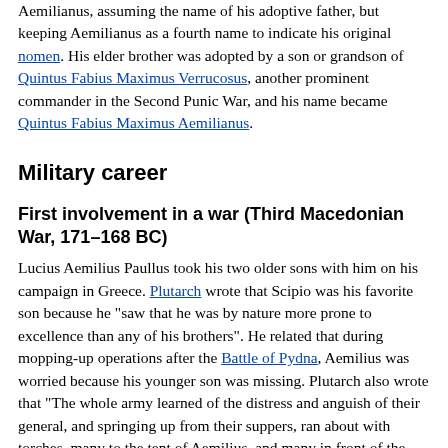Aemilianus, assuming the name of his adoptive father, but keeping Aemilianus as a fourth name to indicate his original nomen. His elder brother was adopted by a son or grandson of Quintus Fabius Maximus Verrucosus, another prominent commander in the Second Punic War, and his name became Quintus Fabius Maximus Aemilianus.
Military career
First involvement in a war (Third Macedonian War, 171–168 BC)
Lucius Aemilius Paullus took his two older sons with him on his campaign in Greece. Plutarch wrote that Scipio was his favorite son because he "saw that he was by nature more prone to excellence than any of his brothers". He related that during mopping-up operations after the Battle of Pydna, Aemilius was worried because his younger son was missing. Plutarch also wrote that "The whole army learned of the distress and anguish of their general, and springing up from their suppers, ran about with torches, many to the tent of Aemilius, and many in front of the ramparts, searching among the numerous dead bodies. Dejection reigned in the camp, and the plain was filled with the cries of men calling out the name of Scipio. For from the very outset he had